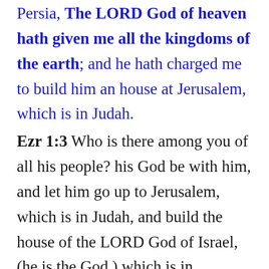Persia, The LORD God of heaven hath given me all the kingdoms of the earth; and he hath charged me to build him an house at Jerusalem, which is in Judah.
Ezr 1:3 Who is there among you of all his people? his God be with him, and let him go up to Jerusalem, which is in Judah, and build the house of the LORD God of Israel, (he is the God,) which is in Jerusalem.
Ezr 1:4 And whosoever remaineth in